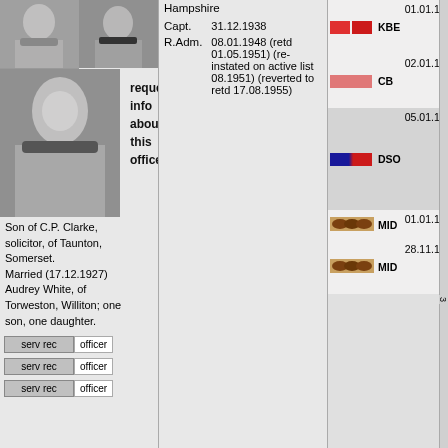[Figure (photo): Two black and white portrait photos of a naval officer side by side]
request info about this officer
[Figure (photo): Black and white photo of a naval officer in uniform]
Son of C.P. Clarke, solicitor, of Taunton, Somerset. Married (17.12.1927) Audrey White, of Torweston, Williton; one son, one daughter.
serv rec  officer
serv rec  officer
serv rec  officer
Hampshire
| Rank | Date | Notes |
| --- | --- | --- |
| Capt. | 31.12.1938 |  |
| R.Adm. | 08.01.1948 (retd 01.05.1951) (re-instated on active list 08.1951) (reverted to retd 17.08.1955) |  |
| Ribbon | Award | Date | Notes |
| --- | --- | --- | --- |
| [red ribbons] | KBE | 01.01.1954 | New Year 1954 [investiture 16.02.1954] |
| [pink ribbon] | CB | 02.01.1950 | New Year 1950 [investiture 14.02.1951] |
| [blue/red ribbon] | DSO | 05.01.1944 | action with enemy destroyers Bay of Biscay 12.1943 [investiture 12.12.1944] |
| [MID leaves] | MID | 01.01.1942 | New Year 1942 |
| [MID leaves] | MID | 28.11.1944 | Operation Neptune (Normandy 06.1944) |